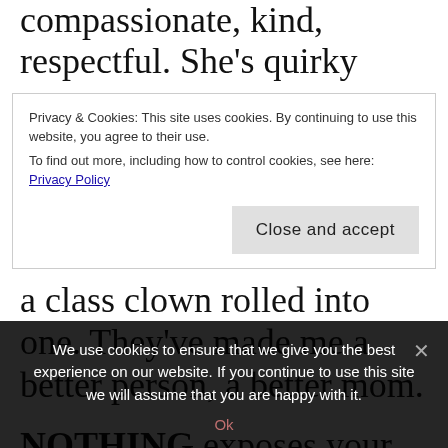compassionate, kind, respectful. She's quirky
Privacy & Cookies: This site uses cookies. By continuing to use this website, you agree to their use.
To find out more, including how to control cookies, see here: Privacy Policy
Close and accept
a class clown rolled into one. They've made me a better person, a better mom.
NOTHING exposes your faults like having children (except perhaps marriage–so being married AND having kids will expose ALL THE
We use cookies to ensure that we give you the best experience on our website. If you continue to use this site we will assume that you are happy with it.
Ok